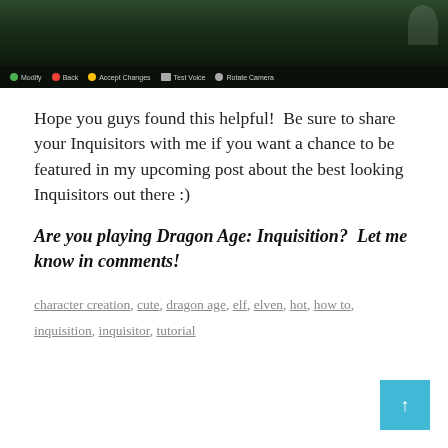[Figure (screenshot): Screenshot from Dragon Age: Inquisition character creation screen with HUD showing control buttons: Modify, Back, Accept Changes, Test Voice, Rotate Camera]
Hope you guys found this helpful!  Be sure to share your Inquisitors with me if you want a chance to be featured in my upcoming post about the best looking Inquisitors out there :)
Are you playing Dragon Age: Inquisition?  Let me know in comments!
character creation, cute, dragon age, elf, elven, hot, how to, inquisition, inquisitor, tutorial